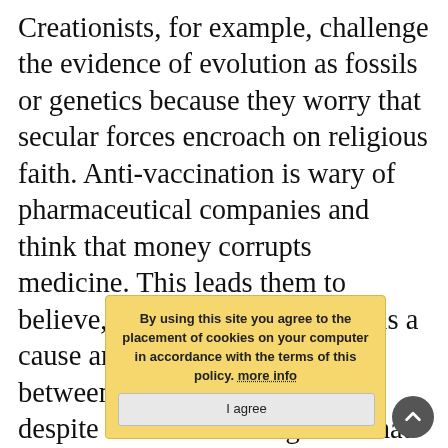Creationists, for example, challenge the evidence of evolution as fossils or genetics because they worry that secular forces encroach on religious faith. Anti-vaccination is wary of pharmaceutical companies and think that money corrupts medicine. This leads them to believe, for example, that there is a cause and effect relationship between vaccines and autism despite the embarrassing truth that the only study claiming such a link has been retracted and its principal perpetrator accused of fr[...]. The September 11 conspirators focused on minute details like the melting point[...] towers of the World Trade C[...] caused their collapse because they believe the US government is lying and conducting
By using this site you agree to the placement of cookies on your computer in accordance with the terms of this policy. more info
I agree